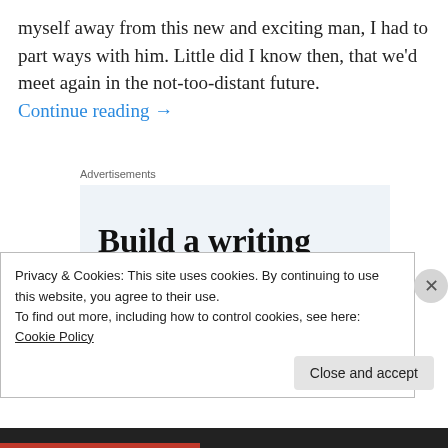myself away from this new and exciting man, I had to part ways with him. Little did I know then, that we'd meet again in the not-too-distant future. Continue reading →
Advertisements
[Figure (illustration): Advertisement box with text: Build a writing habit. Post on the go.]
Privacy & Cookies: This site uses cookies. By continuing to use this website, you agree to their use.
To find out more, including how to control cookies, see here: Cookie Policy
Close and accept